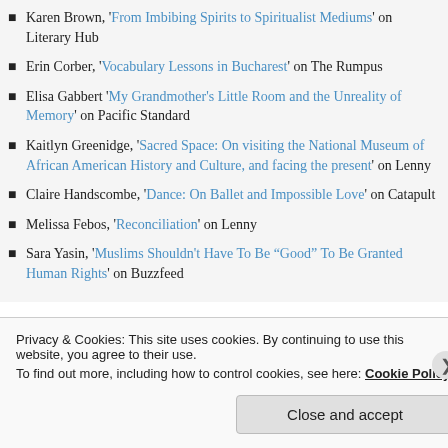Karen Brown, 'From Imbibing Spirits to Spiritualist Mediums' on Literary Hub
Erin Corber, 'Vocabulary Lessons in Bucharest' on The Rumpus
Elisa Gabbert 'My Grandmother's Little Room and the Unreality of Memory' on Pacific Standard
Kaitlyn Greenidge, 'Sacred Space: On visiting the National Museum of African American History and Culture, and facing the present' on Lenny
Claire Handscombe, 'Dance: On Ballet and Impossible Love' on Catapult
Melissa Febos, 'Reconciliation' on Lenny
Sara Yasin, 'Muslims Shouldn't Have To Be "Good" To Be Granted Human Rights' on Buzzfeed
Privacy & Cookies: This site uses cookies. By continuing to use this website, you agree to their use.
To find out more, including how to control cookies, see here: Cookie Policy